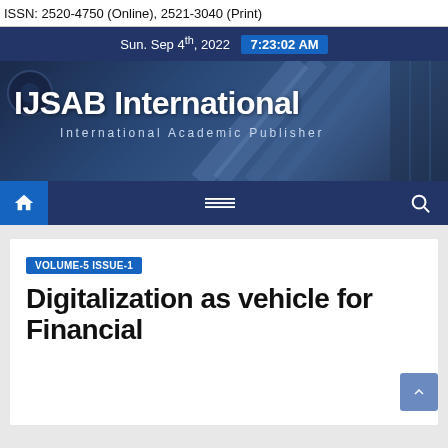ISSN: 2520-4750 (Online), 2521-3040 (Print)
Sun. Sep 4th, 2022  7:23:02 AM
[Figure (screenshot): IJSAB International banner with city building background, title 'IJSAB International' and subtitle 'International Academic Publisher']
[Figure (screenshot): Navigation bar with home icon, hamburger menu, and search icon on dark blue background]
VOLUME-5 ISSUE-1
Digitalization as vehicle for Financial